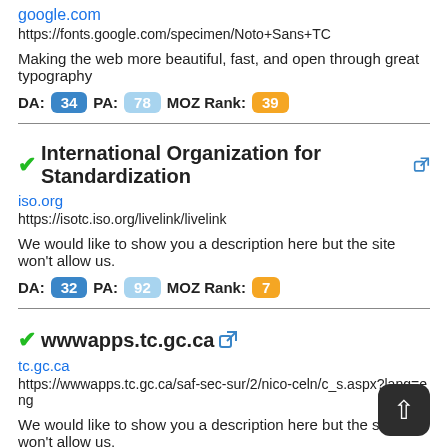google.com
https://fonts.google.com/specimen/Noto+Sans+TC
Making the web more beautiful, fast, and open through great typography
DA: 34 PA: 78 MOZ Rank: 39
International Organization for Standardization
iso.org
https://isotc.iso.org/livelink/livelink
We would like to show you a description here but the site won't allow us.
DA: 32 PA: 92 MOZ Rank: 7
wwwapps.tc.gc.ca
tc.gc.ca
https://wwwapps.tc.gc.ca/saf-sec-sur/2/nico-celn/c_s.aspx?lang=eng
We would like to show you a description here but the site won't allow us.